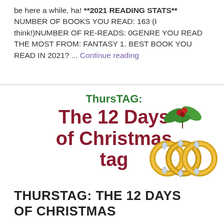be here a while, ha! **2021 READING STATS** NUMBER OF BOOKS YOU READ: 163 (I think!)NUMBER OF RE-READS: 0GENRE YOU READ THE MOST FROM: FANTASY 1. BEST BOOK YOU READ IN 2021? ... Continue reading
[Figure (illustration): ThursTAG: The 12 Days of Christmas tag banner with holly decoration and gold rings illustration]
THURSTAG: THE 12 DAYS OF CHRISTMAS